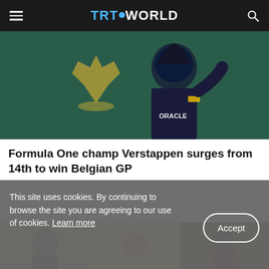TRT WORLD
[Figure (photo): Formula One driver Max Verstappen in Oracle Red Bull Racing suit, standing on podium with Rolex crown logo in background]
Formula One champ Verstappen surges from 14th to win Belgian GP
[Figure (photo): Collage of three people, appears to be a news story image]
This site uses cookies. By continuing to browse the site you are agreeing to our use of cookies. Learn more